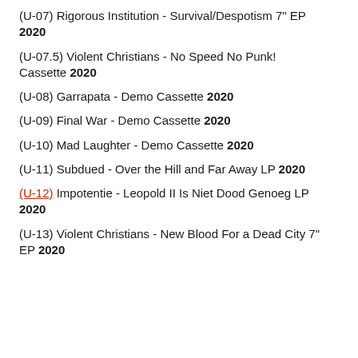(U-07) Rigorous Institution - Survival/Despotism 7" EP 2020
(U-07.5) Violent Christians - No Speed No Punk! Cassette 2020
(U-08) Garrapata - Demo Cassette 2020
(U-09) Final War - Demo Cassette 2020
(U-10) Mad Laughter - Demo Cassette 2020
(U-11) Subdued - Over the Hill and Far Away LP 2020
(U-12) Impotentie - Leopold II Is Niet Dood Genoeg LP 2020
(U-13) Violent Christians - New Blood For a Dead City 7" EP 2020